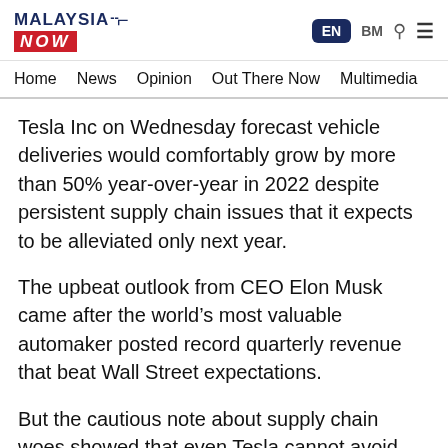MALAYSIA NOW | EN | BM
Home | News | Opinion | Out There Now | Multimedia
Tesla Inc on Wednesday forecast vehicle deliveries would comfortably grow by more than 50% year-over-year in 2022 despite persistent supply chain issues that it expects to be alleviated only next year.
The upbeat outlook from CEO Elon Musk came after the world’s most valuable automaker posted record quarterly revenue that beat Wall Street expectations.
But the cautious note about supply chain woes showed that even Tesla cannot avoid the shortages that were pitfalls for many larger automakers last year. Shares fell